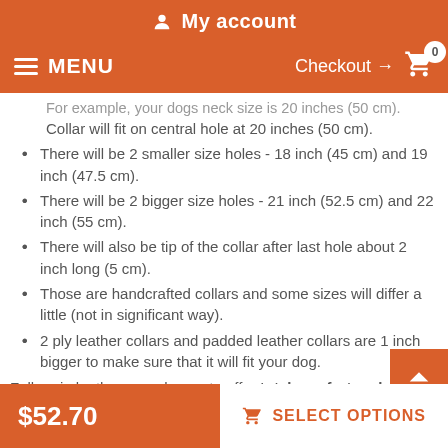My account
MENU   Checkout → 0
For example, your dogs neck size is 20 inches (50 cm). Collar will fit on central hole at 20 inches (50 cm).
There will be 2 smaller size holes - 18 inch (45 cm) and 19 inch (47.5 cm).
There will be 2 bigger size holes - 21 inch (52.5 cm) and 22 inch (55 cm).
There will also be tip of the collar after last hole about 2 inch long (5 cm).
Those are handcrafted collars and some sizes will differ a little (not in significant way).
2 ply leather collars and padded leather collars are 1 inch bigger to make sure that it will fit your dog.
Full grain leather was chosen to offer total comfort and safety
$52.70   SELECT OPTIONS